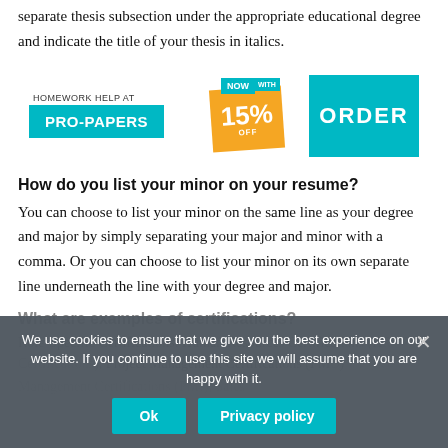separate thesis subsection under the appropriate educational degree and indicate the title of your thesis in italics.
[Figure (infographic): Pro-Papers homework help advertisement banner with teal PRO-PAPERS logo, orange 15% off badge with NOW/WITH tags, and teal ORDER button.]
How do you list your minor on your resume?
You can choose to list your minor on the same line as your degree and major by simply separating your major and minor with a comma. Or you can choose to list your minor on its own separate line underneath the line with your degree and major.
What are examples of certifications?
Role-Specific Certifications: Human Resources Certifications (HR Certifications), Project Management Certifications (PMD), Sales
We use cookies to ensure that we give you the best experience on our website. If you continue to use this site we will assume that you are happy with it.